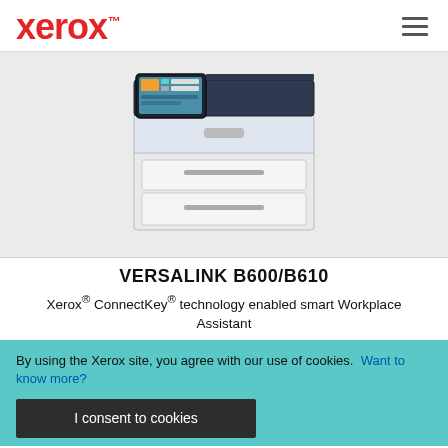xerox™
[Figure (photo): Xerox VersaLink B600/B610 monochrome laser printer, white and dark blue body with touchscreen control panel on top, two paper trays visible at the front, on a light gray background.]
VERSALINK B600/B610
Xerox® ConnectKey® technology enabled smart Workplace Assistant
By using the Xerox site, you agree with our use of cookies.  Want to know more?
I consent to cookies
About Xerox Corporate Information